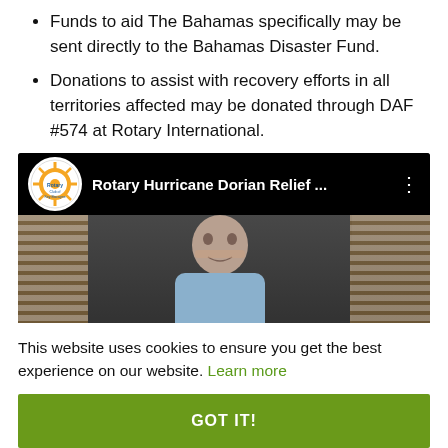Funds to aid The Bahamas specifically may be sent directly to the Bahamas Disaster Fund.
Donations to assist with recovery efforts in all territories affected may be donated through DAF #574 at Rotary International.
[Figure (screenshot): YouTube video thumbnail showing 'Rotary Hurricane Dorian Relief ...' with Rotary Club logo and a person in front of window blinds]
This website uses cookies to ensure you get the best experience on our website. Learn more
GOT IT!